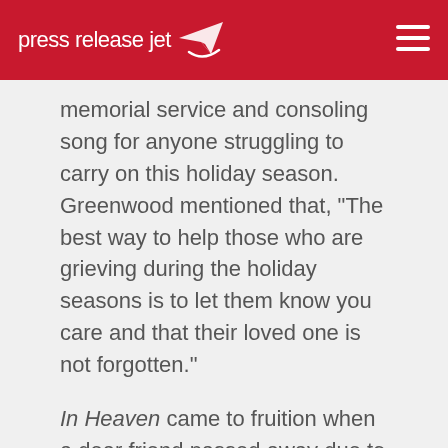pressreleasejet
memorial service and consoling song for anyone struggling to carry on this holiday season. Greenwood mentioned that, "The best way to help those who are grieving during the holiday seasons is to let them know you care and that their loved one is not forgotten."
In Heaven came to fruition when a dear friend passed away due to cancer. It was written and recorded to aid loved ones through the grieving process in order to carry on